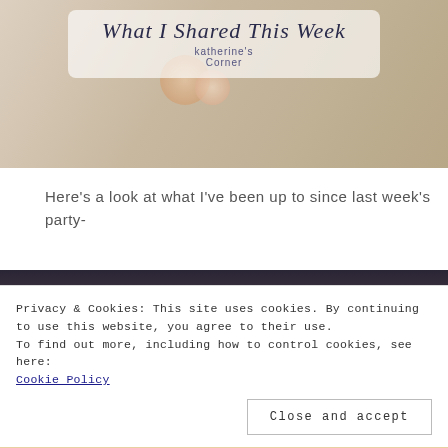[Figure (illustration): Blog banner image with floral decorations and cursive text reading 'What I Shared This Week' with 'Katherine's Corner' subtitle, on a cream/beige floral background]
Here's a look at what I've been up to since last week's party-
[Figure (photo): Blurred close-up photo of a person holding something yellow/golden, with text overlay partially visible reading 'from my Friends' in cursive]
Privacy & Cookies: This site uses cookies. By continuing to use this website, you agree to their use.
To find out more, including how to control cookies, see here:
Cookie Policy
Close and accept